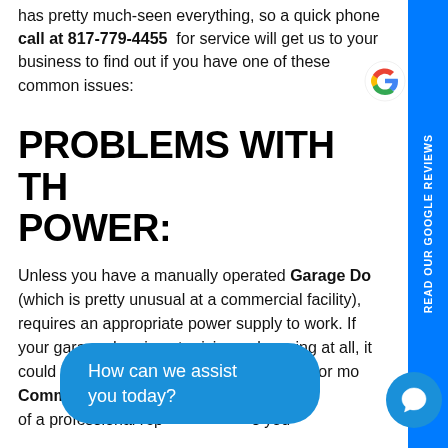has pretty much-seen everything, so a quick phone call at 817-779-4455 for service will get us to your business to find out if you have one of these common issues:
PROBLEMS WITH THE POWER:
Unless you have a manually operated Garage Door (which is pretty unusual at a commercial facility), requires an appropriate power supply to work. If your garage door is not raising or lowering at all, it could be an issue with the power supply. For more Commercial Garage of a professional rep us you
[Figure (other): Google G logo in the upper right area]
[Figure (other): Blue vertical sidebar strip with text READ OUR GOOGLE REVIEWS rotated vertically]
[Figure (other): Blue chat bubble overlay at bottom reading: How can we assist you today? with a chat icon circle]